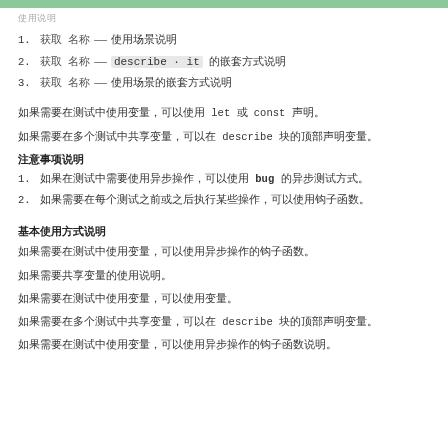使用说明
1. 获取 名称 —— 使用场景说明
2. 获取 名称 —— describe · it 的嵌套方式说明
3. 获取 名称 —— 使用场景的嵌套方式说明
如果需要在测试中使用变量，可以使用 let 或 const 声明。
如果需要在多个测试中共享变量，可以在 describe 块的顶部声明变量。
注意事项说明
1. 如果在测试中需要使用异步操作，可以使用 bug 的异步测试方式。
2. 如果需要在每个测试之前或之后执行某些操作，可以使用钩子函数。
基本使用方式说明
如果需要在测试中使用变量，可以使用异步操作的钩子函数。
如果需要共享变量的使用说明。
如果需要在测试中使用变量，可以使用变量。
如果需要在多个测试中共享变量，可以在 describe 块的顶部声明变量。
如果需要在测试中使用变量，可以使用异步操作的钩子函数说明。